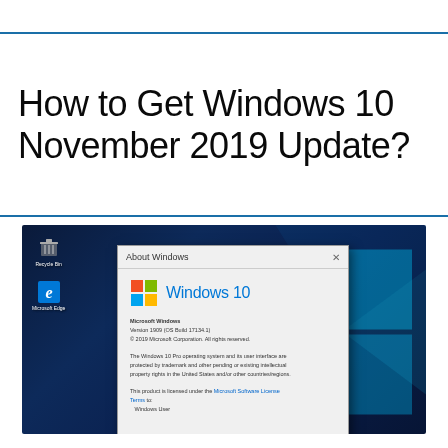How to Get Windows 10 November 2019 Update?
[Figure (screenshot): Windows 10 desktop screenshot showing the 'About Windows' dialog box with Windows 10 logo, version information, and copyright text, overlaid on a Windows 10 desktop with taskbar icons visible on the left and the Windows logo light effect in the background.]